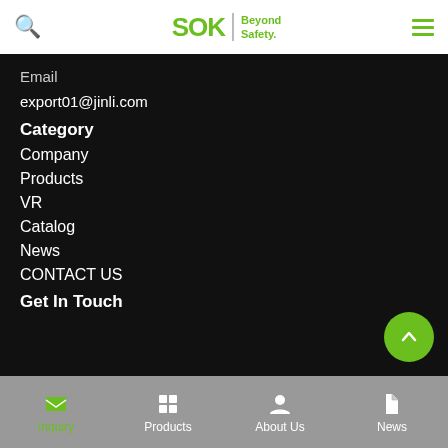SOK | Beyond Safety.
Email
export01@jinli.com
Category
Company
Products
VR
Catalog
News
CONTACT US
Get In Touch
Inquiry | Products | About Us | News